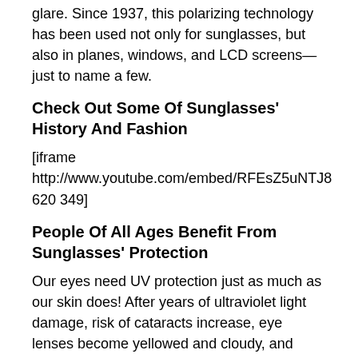glare. Since 1937, this polarizing technology has been used not only for sunglasses, but also in planes, windows, and LCD screens—just to name a few.
Check Out Some Of Sunglasses' History And Fashion
[iframe http://www.youtube.com/embed/RFEsZ5uNTJ8 620 349]
People Of All Ages Benefit From Sunglasses' Protection
Our eyes need UV protection just as much as our skin does! After years of ultraviolet light damage, risk of cataracts increase, eye lenses become yellowed and cloudy, and eyelids can develop cancer.
Protecting your eyes from the sun is an essential